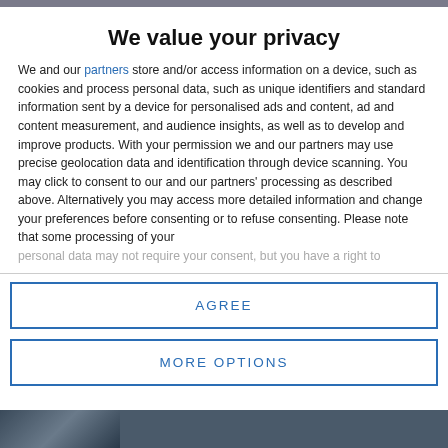We value your privacy
We and our partners store and/or access information on a device, such as cookies and process personal data, such as unique identifiers and standard information sent by a device for personalised ads and content, ad and content measurement, and audience insights, as well as to develop and improve products. With your permission we and our partners may use precise geolocation data and identification through device scanning. You may click to consent to our and our partners' processing as described above. Alternatively you may access more detailed information and change your preferences before consenting or to refuse consenting. Please note that some processing of your personal data may not require your consent, but you have a right to
AGREE
MORE OPTIONS
[Figure (photo): Partial photo visible at bottom of page]